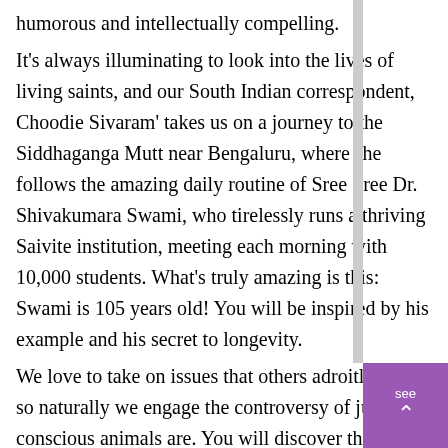humorous and intellectually compelling. It's always illuminating to look into the lives of living saints, and our South Indian correspondent, Choodie Sivaram' takes us on a journey to the Siddhaganga Mutt near Bengaluru, where she follows the amazing daily routine of Sree Sree Dr. Shivakumara Swami, who tirelessly runs a thriving Saivite institution, meeting each morning with 10,000 students. What's truly amazing is this: Swami is 105 years old! You will be inspired by his example and his secret to longevity.
We love to take on issues that others adroitly avoid, so naturally we engage the controversy of just how conscious animals are. You will discover they are more human than most people know. It's an area where biological science is advancing rapidly, and you can see it all here. We call on Hindu spiritual leaders and scholars to get the Hindu take on animal